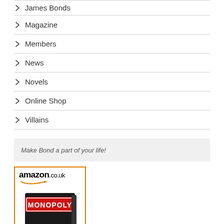James Bonds
Magazine
Members
News
Novels
Online Shop
Villains
Make Bond a part of your life!
[Figure (logo): Amazon.co.uk logo with smile arrow and Monopoly board game box image]